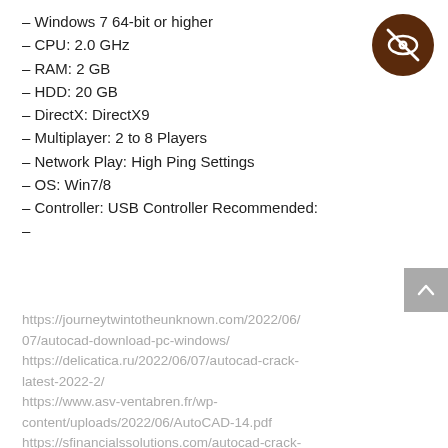– Windows 7 64-bit or higher
– CPU: 2.0 GHz
– RAM: 2 GB
– HDD: 20 GB
– DirectX: DirectX9
– Multiplayer: 2 to 8 Players
– Network Play: High Ping Settings
– OS: Win7/8
– Controller: USB Controller Recommended:
–
[Figure (logo): Dark brown circle with a crossed-out eye icon (privacy/hidden icon) in white]
https://journeytwintotheunknown.com/2022/06/07/autocad-download-pc-windows/ https://delicatica.ru/2022/06/07/autocad-crack-latest-2022-2/ https://www.asv-ventabren.fr/wp-content/uploads/2022/06/AutoCAD-14.pdf https://sfinancialssolutions.com/autocad-crack-torrent-activation-code-free-download/